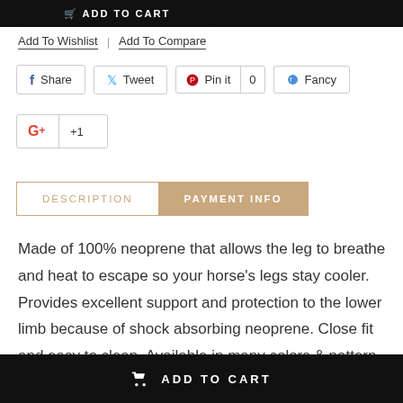ADD TO CART
Add To Wishlist  |  Add To Compare
Share  Tweet  Pin it  0  Fancy
G+  +1
DESCRIPTION  PAYMENT INFO
Made of 100% neoprene that allows the leg to breathe and heat to escape so your horse's legs stay cooler. Provides excellent support and protection to the lower limb because of shock absorbing neoprene. Close fit and easy to clean, Available in many colors & pattern. This set come with no-
ADD TO CART